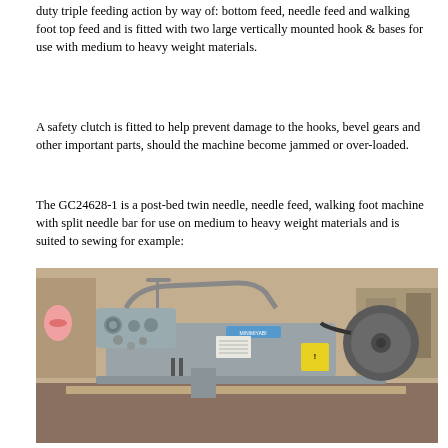duty triple feeding action by way of: bottom feed, needle feed and walking foot top feed and is fitted with two large vertically mounted hook & bases for use with medium to heavy weight materials.
A safety clutch is fitted to help prevent damage to the hooks, bevel gears and other important parts, should the machine become jammed or over-loaded.
The GC24628-1 is a post-bed twin needle, needle feed, walking foot machine with split needle bar for use on medium to heavy weight materials and is suited to sewing for example:
leather upholstery, car upholstery, general upholstery panels/shapes, leather goods, canvas/plastic, handbags, sports apparatus, office furniture, technical textiles etc.
[Figure (photo): Photo of a grey industrial post-bed twin needle sewing machine (GC24628-1) with walking foot, shown on a workbench in a workshop setting. The machine has a MINIMIYABI label on the arm, yellow warning stickers, and pink thread spool visible on the left.]